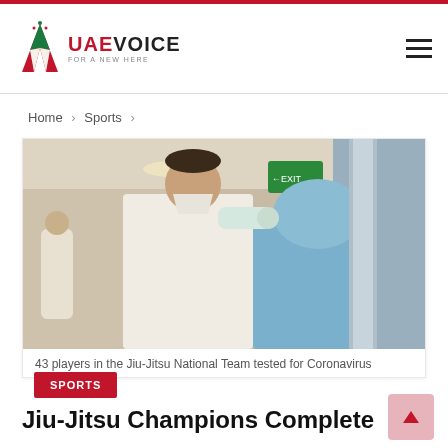UAE VOICE
Home > Sports >
[Figure (photo): A man in white traditional UAE attire being given a nasal swab test by a medical worker in full PPE (blue protective suit and head cover), in what appears to be an indoor venue. Another person in white is visible in the background.]
43 players in the Jiu-Jitsu National Team tested for Coronavirus
SPORTS
Jiu-Jitsu Champions Complete